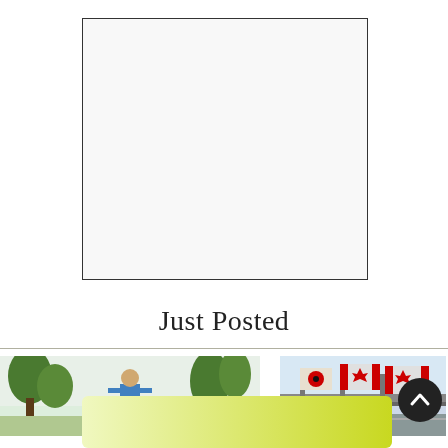[Figure (other): Advertisement placeholder box with thin border, light gray background]
Just Posted
[Figure (photo): Left thumbnail: outdoor scene with person standing among trees, wearing a blue top]
[Figure (photo): Right thumbnail: outdoor scene with Canadian flags and poppy flags on a bridge or overpass]
[Figure (other): Yellow-green gradient horizontal bar at bottom of page]
[Figure (other): Dark circular scroll-to-top button with upward chevron arrow]